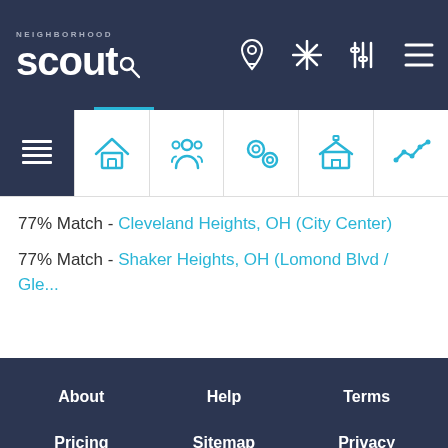Neighborhood Scout - navigation header
[Figure (screenshot): Navigation tab bar with icons: list/overview, home, people/community, location/crime, school, trend chart]
77% Match - Cleveland Heights, OH (City Center)
77% Match - Shaker Heights, OH (Lomond Blvd / Gle...
About  Help  Terms  Pricing  Sitemap  Privacy